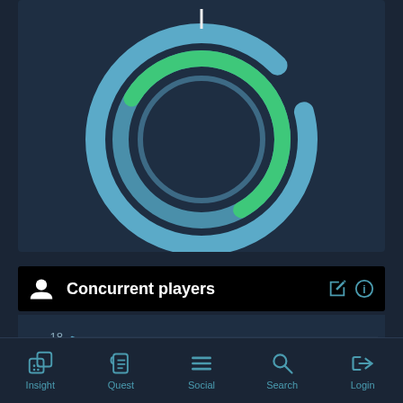[Figure (donut-chart): Partial donut/ring chart with two concentric rings. Outer ring is blue/teal, inner ring has a green segment covering roughly 60% and the rest is teal/blue. Dark navy background.]
Concurrent players
[Figure (line-chart): Line chart showing concurrent players declining from 18 to 14. Y-axis labels: 14, 16, 18.]
Insight
Quest
Social
Search
Login